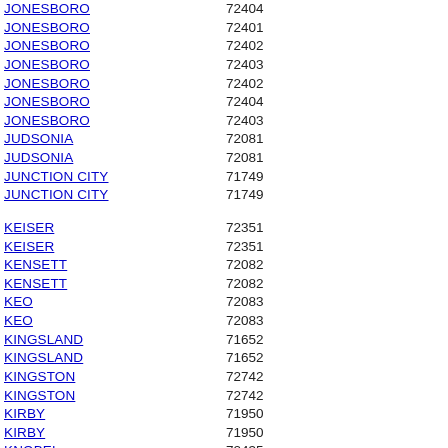| City | ZIP |
| --- | --- |
| JONESBORO | 72404 |
| JONESBORO | 72401 |
| JONESBORO | 72402 |
| JONESBORO | 72403 |
| JONESBORO | 72402 |
| JONESBORO | 72404 |
| JONESBORO | 72403 |
| JUDSONIA | 72081 |
| JUDSONIA | 72081 |
| JUNCTION CITY | 71749 |
| JUNCTION CITY | 71749 |
| KEISER | 72351 |
| KEISER | 72351 |
| KENSETT | 72082 |
| KENSETT | 72082 |
| KEO | 72083 |
| KEO | 72083 |
| KINGSLAND | 71652 |
| KINGSLAND | 71652 |
| KINGSTON | 72742 |
| KINGSTON | 72742 |
| KIRBY | 71950 |
| KIRBY | 71950 |
| KNOBEL | 72435 |
| KNOBEL | 72435 |
| KNOXVILLE | 72845 |
| KNOXVILLE | 72845 |
| LA GRANGE | 72352 |
| LA GRANGE | 72352 |